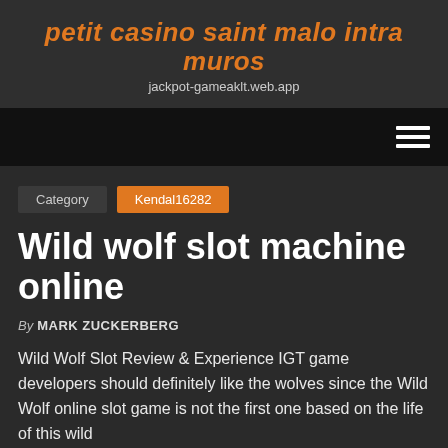petit casino saint malo intra muros
jackpot-gameaklt.web.app
[Figure (other): Navigation bar with hamburger menu icon on black background]
Category   Kendal16282
Wild wolf slot machine online
By MARK ZUCKERBERG
Wild Wolf Slot Review & Experience IGT game developers should definitely like the wolves since the Wild Wolf online slot game is not the first one based on the life of this wild